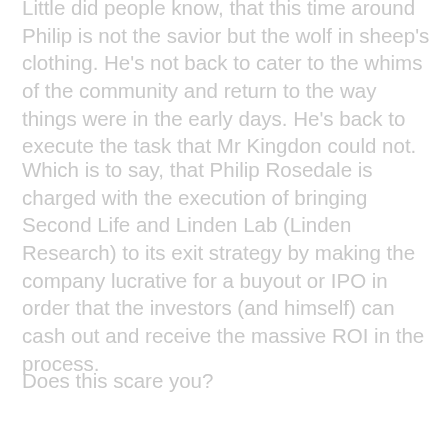Little did people know, that this time around Philip is not the savior but the wolf in sheep's clothing. He's not back to cater to the whims of the community and return to the way things were in the early days. He's back to execute the task that Mr Kingdon could not.
Which is to say, that Philip Rosedale is charged with the execution of bringing Second Life and Linden Lab (Linden Research) to its exit strategy by making the company lucrative for a buyout or IPO in order that the investors (and himself) can cash out and receive the massive ROI in the process.
Does this scare you?
I'd say with confidence that Second Life is not in a position to reach an IPO status, but the actions of the company dictate that they were preparing for their own platform. The last of the